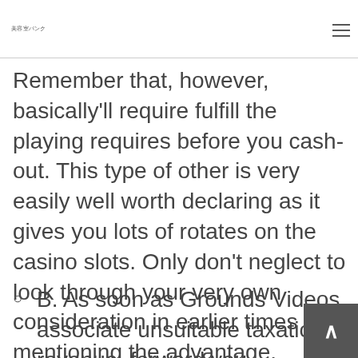美容室パンク
Remember that, however, basically'll require fulfill the playing requires before you cash-out. This type of other is very easily well worth declaring as it gives you lots of rotates on the casino slots. Only don't neglect to look through your very own consideration in earlier times mentioning the advantage.
B. As soon as Grounds Videos associate unsuitable taxation revenue, forward you